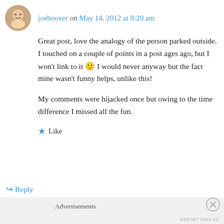joehoover on May 14, 2012 at 8:20 am
Great post, love the analogy of the person parked outside. I touched on a couple of points in a post ages ago, but I won't link to it 🙂 I would never anyway but the fact mine wasn't funny helps, unlike this!
My comments were hijacked once but owing to the time difference I missed all the fun.
Like
Reply
Advertisements